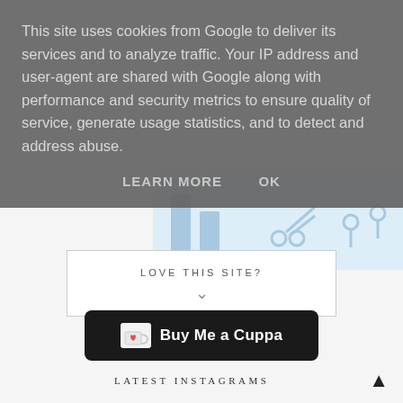This site uses cookies from Google to deliver its services and to analyze traffic. Your IP address and user-agent are shared with Google along with performance and security metrics to ensure quality of service, generate usage statistics, and to detect and address abuse.
LEARN MORE    OK
[Figure (illustration): Light blue illustrated graphic showing bar charts, scissors, and pin/marker icons — part of a website background illustration]
LOVE THIS SITE?
[Figure (logo): Buy Me a Cuppa button — black rounded rectangle with a white cup icon containing a red heart and white text 'Buy Me a Cuppa']
LATEST INSTAGRAMS